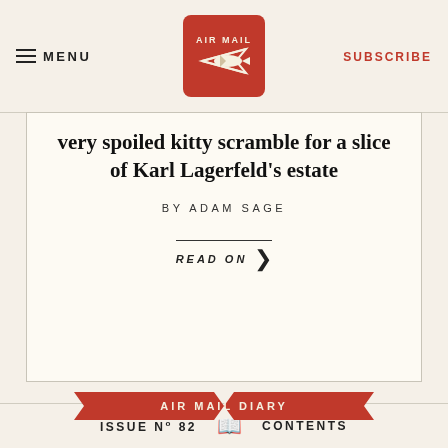MENU | AIR MAIL | SUBSCRIBE
very spoiled kitty scramble for a slice of Karl Lagerfeld's estate
BY ADAM SAGE
READ ON
[Figure (logo): Air Mail Diary ribbon banner with red chevron design]
[Figure (photo): Colorful illustration with silhouettes and 'Briefly...' text on red background]
ISSUE No 82  CONTENTS